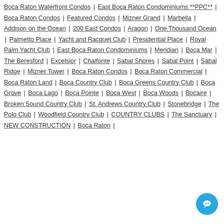Boca Raton Waterfront Condos | East Boca Raton Condominiums **PPC** | Boca Raton Condos | Featured Condos | Mizner Grand | Marbella | Addison on the Ocean | 200 East Condos | Aragon | One Thousand Ocean | Palmetto Place | Yacht and Racquet Club | Presidential Place | Royal Palm Yacht Club | East Boca Raton Condominiums | Meridian | Boca Mar | The Beresford | Excelsior | Chalfonte | Sabal Shores | Sabal Point | Sabal Ridge | Mizner Tower | Boca Raton Condos | Boca Raton Commercial | Boca Raton Land | Boca Country Club | Boca Greens Country Club | Boca Grove | Boca Lago | Boca Pointe | Boca West | Boca Woods | Bocaire | Broken Sound Country Club | St. Andrews Country Club | Stonebridge | The Polo Club | Woodfield Country Club | COUNTRY CLUBS | The Sanctuary | NEW CONSTRUCTION | Boca Raton |